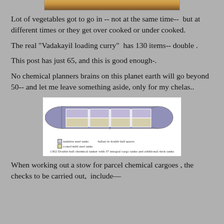[Figure (photo): Top of a food/curry dish photo, partially cropped at the top of the page]
Lot of vegetables got to go in -- not at the same time--  but at different times or they get over cooked or under cooked.
The real "Vadakayil loading curry"  has 130 items-- double .
This post has just 65, and this is good enough-.
No chemical planners brains on this planet earth will go beyond 50-- and let me leave something aside, only for my chelas..
[Figure (engineering-diagram): Top-view diagram of a double hull chemical tanker showing stainless steel tanks and coated mild steel tanks. Caption: 1302 Double hull chemical tanker with 37 integral cargo tanks and additional deck tanks]
When working out a stow for parcel chemical cargoes , the checks to be carried out,  include—